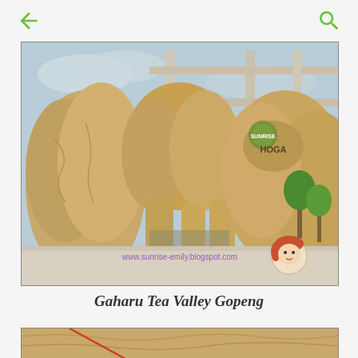← (back) and search icon
[Figure (photo): A rock sculpture entrance/gateway structure at Gaharu Tea Valley Gopeng, featuring large tan/sandy colored artificial rock formations shaped into an arch or gateway. A concrete building structure is visible behind. Text 'HOGA' and a circular logo are visible on the rocks. People and green trees visible in background. Watermark text 'www.sunrise-emily.blogspot.com' and a cartoon girl avatar in the lower portion of the image.]
Gaharu Tea Valley Gopeng
[Figure (photo): Partial view of another photo showing tan/brown textured rock or wood surface with an orange/red diagonal line or element visible.]